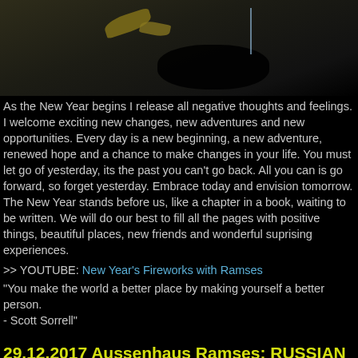[Figure (photo): Dark nighttime outdoor scene showing shadowy ground with a leaf and a thin stick or post visible]
As the New Year begins I release all negative thoughts and feelings. I welcome exciting new changes, new adventures and new opportunities. Every day is a new beginning, a new adventure, renewed hope and a chance to make changes in your life. You must let go of yesterday, its the past you can't go back. All you can is go forward, so forget yesterday. Embrace today and envision tomorrow. The New Year stands before us, like a chapter in a book, waiting to be written. We will do our best to fill all the pages with positive things, beautiful places, new friends and wonderful suprising experiences.
>> YOUTUBE: New Year's Fireworks with Ramses
"You make the world a better place by making yourself a better person.
- Scott Sorrell"
29.12.2017 Aussenhaus Ramses: RUSSIAN JUNIOR CHAMPION